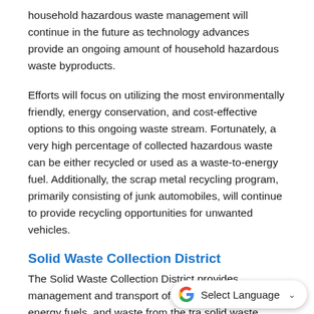household hazardous waste management will continue in the future as technology advances provide an ongoing amount of household hazardous waste byproducts.
Efforts will focus on utilizing the most environmentally friendly, energy conservation, and cost-effective options to this ongoing waste stream. Fortunately, a very high percentage of collected hazardous waste can be either recycled or used as a waste-to-energy fuel. Additionally, the scrap metal recycling program, primarily consisting of junk automobiles, will continue to provide recycling opportunities for unwanted vehicles.
Solid Waste Collection District
The Solid Waste Collection District provides management and transport of recyclables, waste-to-energy fuels, and waste from the tra solid waste facility. The Solid Waste Collection District